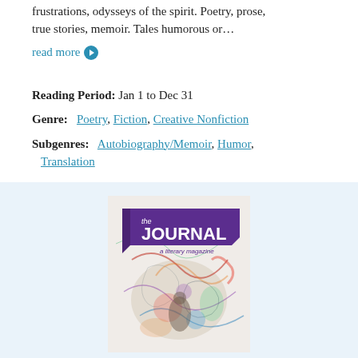frustrations, odysseys of the spirit. Poetry, prose, true stories, memoir. Tales humorous or…
read more →
Reading Period:  Jan 1 to Dec 31
Genre:   Poetry, Fiction, Creative Nonfiction
Subgenres:   Autobiography/Memoir, Humor, Translation
[Figure (photo): Cover of 'the JOURNAL a literary magazine' showing abstract colorful artwork with purple banner logo]